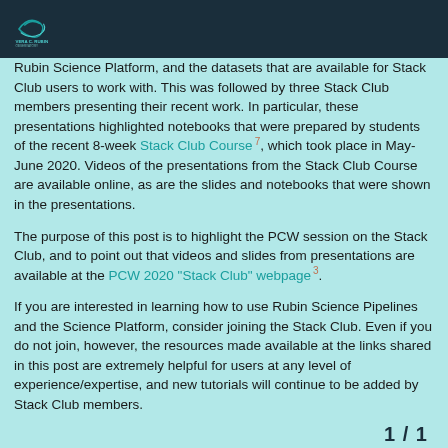Vera C. Rubin Observatory logo
Rubin Science Platform, and the datasets that are available for Stack Club users to work with. This was followed by three Stack Club members presenting their recent work. In particular, these presentations highlighted notebooks that were prepared by students of the recent 8-week Stack Club Course 7 , which took place in May-June 2020. Videos of the presentations from the Stack Club Course are available online, as are the slides and notebooks that were shown in the presentations.
The purpose of this post is to highlight the PCW session on the Stack Club, and to point out that videos and slides from presentations are available at the PCW 2020 “Stack Club” webpage 3 .
If you are interested in learning how to use Rubin Science Pipelines and the Science Platform, consider joining the Stack Club. Even if you do not join, however, the resources made available at the links shared in this post are extremely helpful for users at any level of experience/expertise, and new tutorials will continue to be added by Stack Club members.
1 / 1